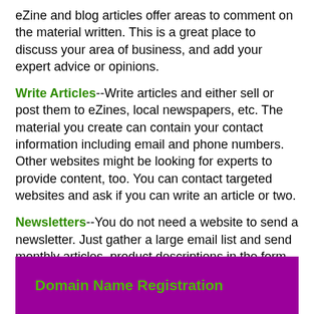eZine and blog articles offer areas to comment on the material written. This is a great place to discuss your area of business, and add your expert advice or opinions.
Write Articles--Write articles and either sell or post them to eZines, local newspapers, etc. The material you create can contain your contact information including email and phone numbers. Other websites might be looking for experts to provide content, too. You can contact targeted websites and ask if you can write an article or two.
Newsletters--You do not need a website to send a newsletter. Just gather a large email list and send monthly articles, product descriptions in the form of a newsletter remember to include your contact information.
Domain Name Registration